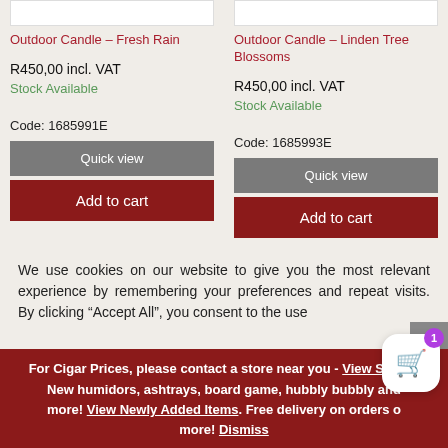Outdoor Candle – Fresh Rain
Outdoor Candle – Linden Tree Blossoms
R450,00 incl. VAT
R450,00 incl. VAT
Stock Available
Stock Available
Code: 1685991E
Code: 1685993E
Quick view
Quick view
Add to cart
Add to cart
We use cookies on our website to give you the most relevant experience by remembering your preferences and repeat visits. By clicking “Accept All”, you consent to the use
For Cigar Prices, please contact a store near you - View Stores. New humidors, ashtrays, board game, hubbly bubbly and more! View Newly Added Items. Free delivery on orders of more! Dismiss